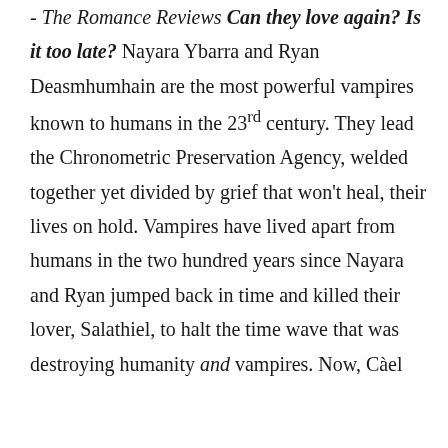- The Romance Reviews Can they love again? Is it too late? Nayara Ybarra and Ryan Deasmhumhain are the most powerful vampires known to humans in the 23rd century. They lead the Chronometric Preservation Agency, welded together yet divided by grief that won't heal, their lives on hold. Vampires have lived apart from humans in the two hundred years since Nayara and Ryan jumped back in time and killed their lover, Salathiel, to halt the time wave that was destroying humanity and vampires. Now, Càel